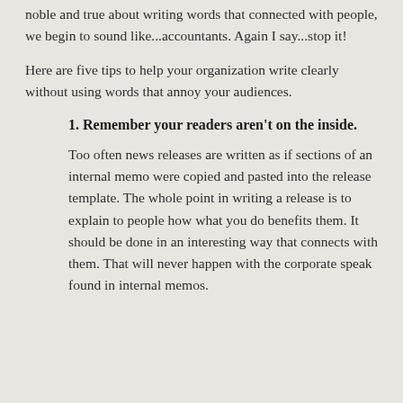noble and true about writing words that connected with people, we begin to sound like...accountants. Again I say...stop it!
Here are five tips to help your organization write clearly without using words that annoy your audiences.
1. Remember your readers aren't on the inside.
Too often news releases are written as if sections of an internal memo were copied and pasted into the release template. The whole point in writing a release is to explain to people how what you do benefits them. It should be done in an interesting way that connects with them. That will never happen with the corporate speak found in internal memos.